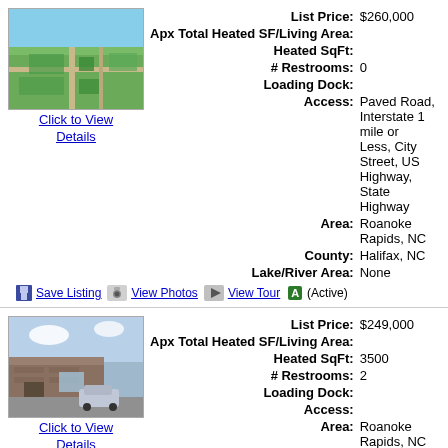[Figure (photo): Aerial view of neighborhood with roads and trees]
Click to View Details
List Price: $260,000
Apx Total Heated SF/Living Area:
Heated SqFt:
# Restrooms: 0
Loading Dock:
Access: Paved Road, Interstate 1 mile or Less, City Street, US Highway, State Highway
Area: Roanoke Rapids, NC
County: Halifax, NC
Lake/River Area: None
Save Listing  View Photos  View Tour  A  (Active)
[Figure (photo): Storefront with parking area and building exterior]
Click to View Details
List Price: $249,000
Apx Total Heated SF/Living Area:
Heated SqFt: 3500
# Restrooms: 2
Loading Dock:
Access:
Area: Roanoke Rapids, NC
County: Halifax, NC
Lake/River Area: None
Save Listing  View Photos  View Tour  A  (Active)